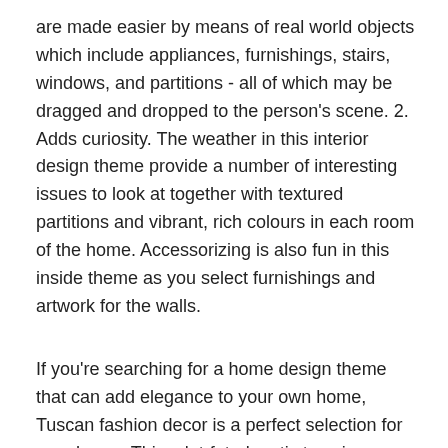are made easier by means of real world objects which include appliances, furnishings, stairs, windows, and partitions - all of which may be dragged and dropped to the person's scene. 2. Adds curiosity. The weather in this interior design theme provide a number of interesting issues to look at together with textured partitions and vibrant, rich colours in each room of the home. Accessorizing is also fun in this inside theme as you select furnishings and artwork for the walls.
If you're searching for a home design theme that can add elegance to your own home, Tuscan fashion decor is a perfect selection for your home. This a lot-feted rustic type is